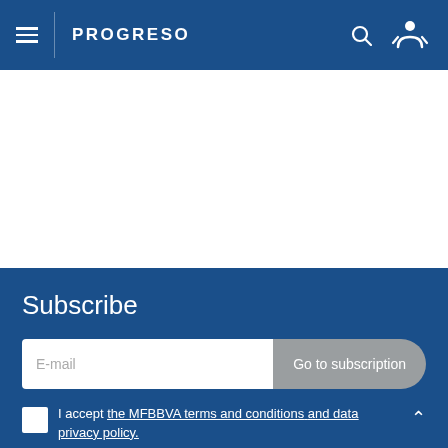PROGRESO
[Figure (screenshot): White content area (blank)]
Subscribe
E-mail  Go to subscription
I accept the MFBBVA terms and conditions and data privacy policy.